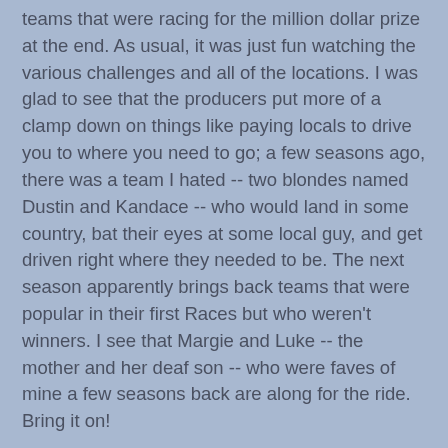teams that were racing for the million dollar prize at the end. As usual, it was just fun watching the various challenges and all of the locations. I was glad to see that the producers put more of a clamp down on things like paying locals to drive you to where you need to go; a few seasons ago, there was a team I hated -- two blondes named Dustin and Kandace -- who would land in some country, bat their eyes at some local guy, and get driven right where they needed to be. The next season apparently brings back teams that were popular in their first Races but who weren't winners. I see that Margie and Luke -- the mother and her deaf son -- who were faves of mine a few seasons back are along for the ride. Bring it on!
:: Survivor wasn't as much fun as a few previous seasons, but it ended up pretty good toward the end. Since the finale aired just last night, I'll white this part of my comment out, if any of you are planning to watch it on DVR.
Once again I was stunned, during the finale, to see contestants saying that the way one contestant reached the final -- by staying under the radar, never letting himself under